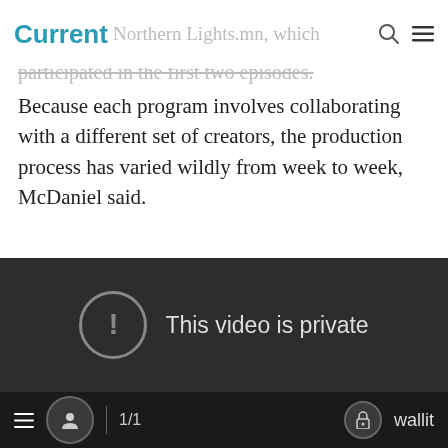Current | nonprofit Northern Lights.mn, which
participated in the first two episodes. Because each program involves collaborating with a different set of creators, the production process has varied wildly from week to week, McDaniel said.
[Figure (screenshot): Dark video player showing 'This video is private' error message with an exclamation mark icon inside a circle]
1/1  wallit